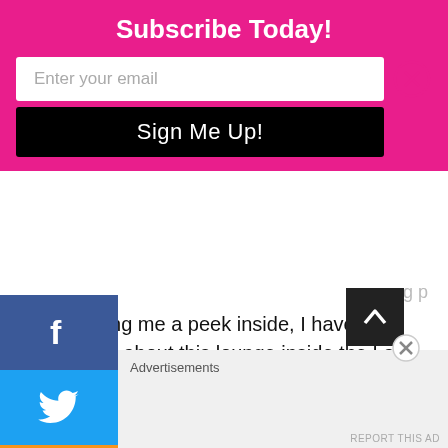Subscribe Today!
for showing me a peek inside, I have often wondered about this lounge inside the Las Vegas airport.
Loading...
PLY
[Figure (infographic): Social media sidebar with Facebook, Twitter, RSS, LinkedIn, Instagram icons]
EDEN FITE
July 9, 2019 at 3:45 am
Advertisements